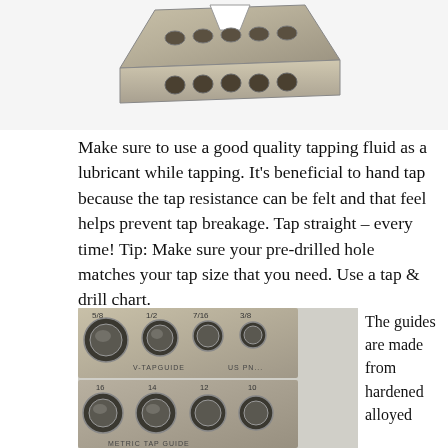[Figure (photo): Top-down angled view of a metal tap guide block with multiple holes, showing the top/upper portion cropped at the top of the page.]
Make sure to use a good quality tapping fluid as a lubricant while tapping. It's beneficial to hand tap because the tap resistance can be felt and that feel helps prevent tap breakage. Tap straight – every time! Tip: Make sure your pre-drilled hole matches your tap size that you need. Use a tap & drill chart.
[Figure (photo): Close-up photo of two metal tap guide blocks stacked, showing labeled holes with sizes: 5/8, 1/2, 7/16, 3/8 on top block and 16, 14, 12, 10 on bottom (metric) block. Labels read V-TAPGUIDE US PN... and METRIC TAP GUIDE.]
The guides are made from hardened alloyed